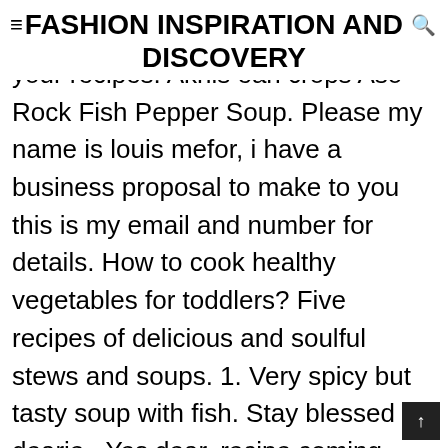FASHION INSPIRATION AND DISCOVERY
your recipes. Aknis ean crops Aso-Rock Fish Pepper Soup. Please my name is louis mefor, i have a business proposal to make to you this is my email and number for details. How to cook healthy vegetables for toddlers? Five recipes of delicious and soulful stews and soups. 1. Very spicy but tasty soup with fish. Stay blessed dearie , Yes dear, recipe coming next week stay tuned , I commend you for this lovely initiative. I have palm oil here where am staying, but I specialize in making Egusi soup with regular vegetable oil with a tin of tomato paste. Below is